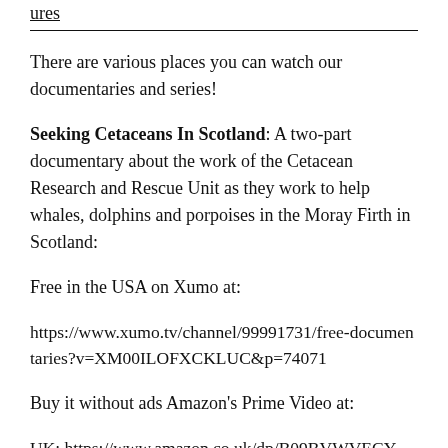ures
There are various places you can watch our documentaries and series!
Seeking Cetaceans In Scotland: A two-part documentary about the work of the Cetacean Research and Rescue Unit as they work to help whales, dolphins and porpoises in the Moray Firth in Scotland:
Free in the USA on Xumo at:
https://www.xumo.tv/channel/99991731/free-documentaries?v=XM00ILOFXCKLUC&p=74071
Buy it without ads Amazon's Prime Video at:
UK: https://www.amazon.co.uk/dp/B09BVWVECY